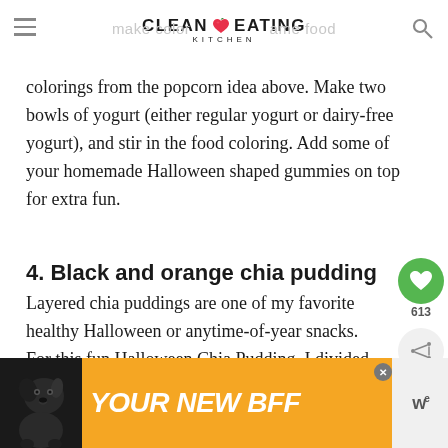CLEAN EATING KITCHEN
colorings from the popcorn idea above. Make two bowls of yogurt (either regular yogurt or dairy-free yogurt), and stir in the food coloring. Add some of your homemade Halloween shaped gummies on top for extra fun.
4. Black and orange chia pudding
Layered chia puddings are one of my favorite healthy Halloween or anytime-of-year snacks. For this fun Halloween Chia Pudding, I divided two cups of almond milk and mixed each cup with 1/4 cup of chia seeds, then added orange and black food coloring pudding
[Figure (infographic): Advertisement banner with dog image and text YOUR NEW BFF on orange background]